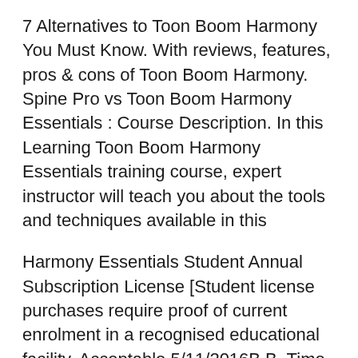7 Alternatives to Toon Boom Harmony You Must Know. With reviews, features, pros & cons of Toon Boom Harmony. Spine Pro vs Toon Boom Harmony Essentials : Course Description. In this Learning Toon Boom Harmony Essentials training course, expert instructor will teach you about the tools and techniques available in this
Harmony Essentials Student Annual Subscription License [Student license purchases require proof of current enrolment in a recognised educational facility. Acceptable 5/11/2016B B· Time for a good old Toon Boom tutorial Animating with Bones: Rigging with Bones in Toon Boom Essentials Onion Jazza's TOON BOOM / HARMONY First